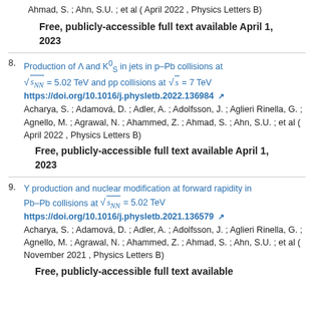Ahmad, S. ; Ahn, S.U. ; et al ( April 2022 , Physics Letters B)
Free, publicly-accessible full text available April 1, 2023
8. Production of Λ and K^0_S in jets in p–Pb collisions at √s_NN = 5.02 TeV and pp collisions at √s = 7 TeV https://doi.org/10.1016/j.physletb.2022.136984
Acharya, S. ; Adamová, D. ; Adler, A. ; Adolfsson, J. ; Aglieri Rinella, G. ; Agnello, M. ; Agrawal, N. ; Ahammed, Z. ; Ahmad, S. ; Ahn, S.U. ; et al ( April 2022 , Physics Letters B)
Free, publicly-accessible full text available April 1, 2023
9. Υ production and nuclear modification at forward rapidity in Pb–Pb collisions at √s_NN = 5.02 TeV https://doi.org/10.1016/j.physletb.2021.136579
Acharya, S. ; Adamová, D. ; Adler, A. ; Adolfsson, J. ; Aglieri Rinella, G. ; Agnello, M. ; Agrawal, N. ; Ahammed, Z. ; Ahmad, S. ; Ahn, S.U. ; et al ( November 2021 , Physics Letters B)
Free, publicly-accessible full text available